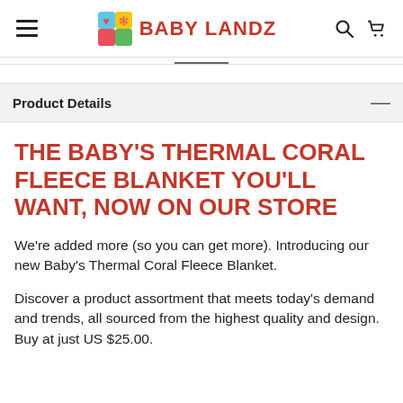BABY LANDZ
Product Details
THE BABY'S THERMAL CORAL FLEECE BLANKET YOU'LL WANT, NOW ON OUR STORE
We're added more (so you can get more). Introducing our new Baby's Thermal Coral Fleece Blanket.
Discover a product assortment that meets today's demand and trends, all sourced from the highest quality and design. Buy at just US $25.00.